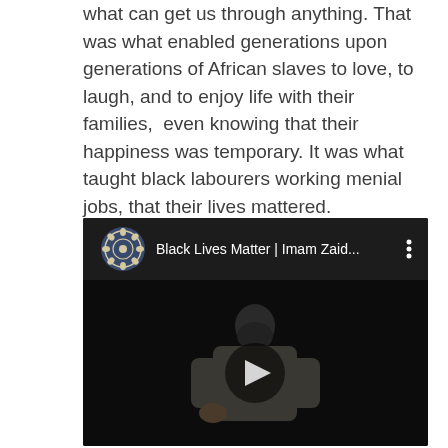what can get us through anything. That was what enabled generations upon generations of African slaves to love, to laugh, and to enjoy life with their families,  even knowing that their happiness was temporary. It was what taught black labourers working menial jobs, that their lives mattered.

Dignity can't be taken, he says. It can only be forfeited.
[Figure (screenshot): Embedded YouTube video player showing a video titled 'Black Lives Matter | Imam Zaid...' with a channel logo (decorative circular design) on the left, a three-dot menu icon on the right, and a video frame showing a man speaking on a dark stage with a play button overlay.]